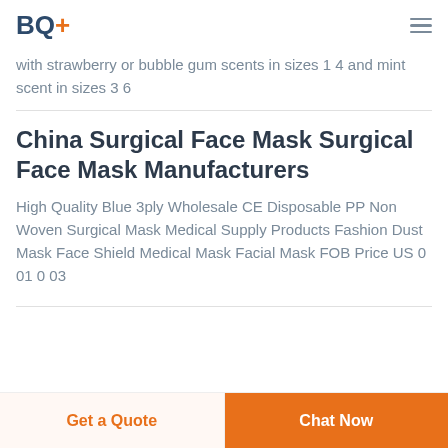BQ+
with strawberry or bubble gum scents in sizes 1 4 and mint scent in sizes 3 6
China Surgical Face Mask Surgical Face Mask Manufacturers
High Quality Blue 3ply Wholesale CE Disposable PP Non Woven Surgical Mask Medical Supply Products Fashion Dust Mask Face Shield Medical Mask Facial Mask FOB Price US 0 01 0 03
Get a Quote  Chat Now